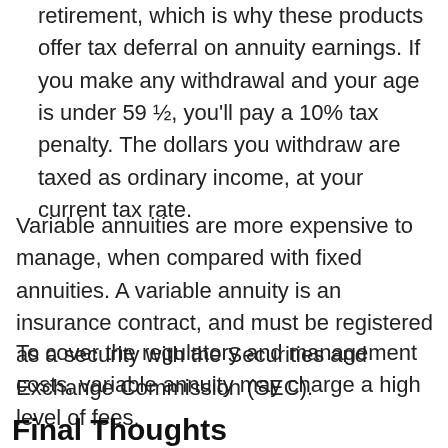retirement, which is why these products offer tax deferral on annuity earnings. If you make any withdrawal and your age is under 59 ½, you'll pay a 10% tax penalty. The dollars you withdraw are taxed as ordinary income, at your current tax rate.
Variable annuities are more expensive to manage, when compared with fixed annuities. A variable annuity is an insurance contract, and must be registered as a security with the Securities and Exchange Commission (SEC).
To cover the regulatory and management costs, variable annuity may charge a high level of fees.
Final Thoughts